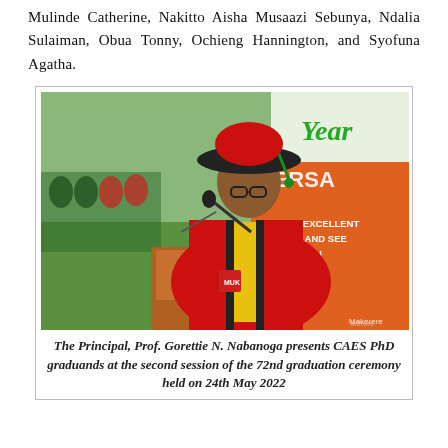Mulinde Catherine, Nakitto Aisha Musaazi Sebunya, Ndalia Sulaiman, Obua Tonny, Ochieng Hannington, and Syofuna Agatha.
[Figure (photo): Photo of Prof. Gorettie N. Nabanoga in academic regalia (red and yellow gown, red and black hat) speaking at a podium with a microphone. In the background, a banner reads 'Year...VERSA' with text about 'TURY OF EXCELLENCE BEYOND, AND SEE EXCELLENCE IN SOCIETY' and '.ac.' visible. Other graduates in academic dress are seated in the background on the left.]
The Principal, Prof. Gorettie N. Nabanoga presents CAES PhD graduands at the second session of the 72nd graduation ceremony held on 24th May 2022